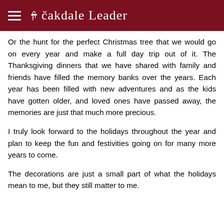Oakdale Leader
Or the hunt for the perfect Christmas tree that we would go on every year and make a full day trip out of it. The Thanksgiving dinners that we have shared with family and friends have filled the memory banks over the years. Each year has been filled with new adventures and as the kids have gotten older, and loved ones have passed away, the memories are just that much more precious.
I truly look forward to the holidays throughout the year and plan to keep the fun and festivities going on for many more years to come.
The decorations are just a small part of what the holidays mean to me, but they still matter to me.